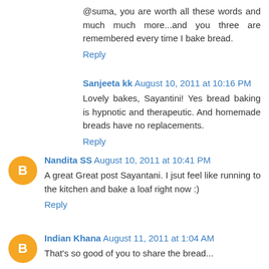@suma, you are worth all these words and much much more...and you three are remembered every time I bake bread.
Reply
Sanjeeta kk  August 10, 2011 at 10:16 PM
Lovely bakes, Sayantini! Yes bread baking is hypnotic and therapeutic. And homemade breads have no replacements.
Reply
Nandita SS  August 10, 2011 at 10:41 PM
A great Great post Sayantani. I jsut feel like running to the kitchen and bake a loaf right now :)
Reply
Indian Khana  August 11, 2011 at 1:04 AM
That's so good of you to share the bread...